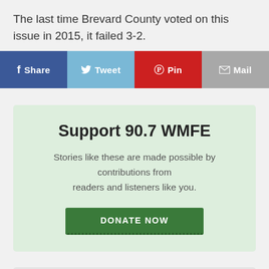The last time Brevard County voted on this issue in 2015, it failed 3-2.
[Figure (infographic): Social share buttons bar: Facebook Share (blue), Twitter Tweet (light blue), Pinterest Pin (red), Mail (gray)]
Support 90.7 WMFE
Stories like these are made possible by contributions from readers and listeners like you.
DONATE NOW